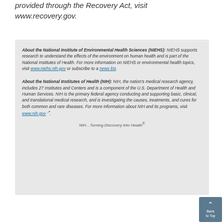provided through the Recovery Act, visit www.recovery.gov.
About the National Institute of Environmental Health Sciences (NIEHS): NIEHS supports research to understand the effects of the environment on human health and is part of the National Institutes of Health. For more information on NIEHS or environmental health topics, visit www.niehs.nih.gov or subscribe to a news list.
About the National Institutes of Health (NIH): NIH, the nation's medical research agency, includes 27 Institutes and Centers and is a component of the U.S. Department of Health and Human Services. NIH is the primary federal agency conducting and supporting basic, clinical, and translational medical research, and is investigating the causes, treatments, and cures for both common and rare diseases. For more information about NIH and its programs, visit www.nih.gov.
NIH…Turning Discovery Into Health®
Back to Top